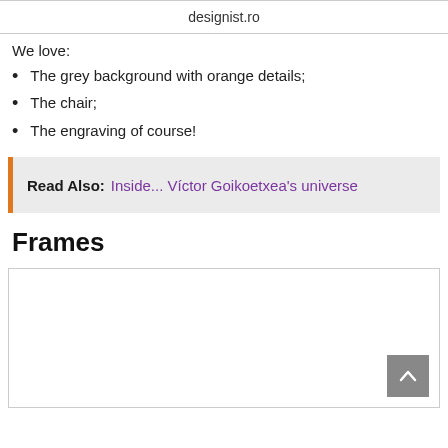designist.ro
We love:
The grey background with orange details;
The chair;
The engraving of course!
Read Also: Inside... Víctor Goikoetxea's universe
Frames
[Figure (photo): A white image box with a grey scroll-to-top button at the bottom right]